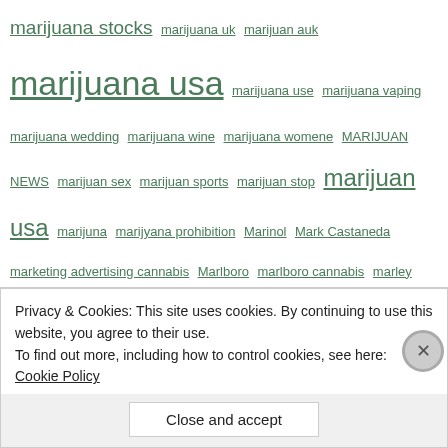marijuana stocks marijuana uk marijuan auk marijuana usa marijuana use marijuana vaping marijuana wedding marijuana wine marijuana womene MARIJUAN NEWS marijuan sex marijuan sports marijuan stop marijuan usa marijuna marijyana prohibition Marinol Mark Castaneda marketing advertising cannabis Marlboro marlboro cannabis marley MARUJIUANA marujuan news dubai maruland mary maryj mary j Mary J. Brides maryjane mary jane maryjmarijuana cansda mary j medical maryj medicine maryj news maryj sex maryj stocks maryjuana maryj uk maryj usa mary j weddings maryland MARYLAND CANNABIS Mason Tvert massachusetts
Privacy & Cookies: This site uses cookies. By continuing to use this website, you agree to their use.
To find out more, including how to control cookies, see here: Cookie Policy
Close and accept